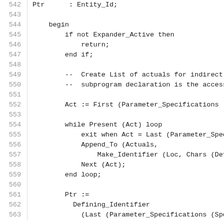542   Ptr      : Entity_Id;
543
544      begin
545          if not Expander_Active then
546              return;
547          end if;
548
549          --  Create List of actuals for indirect
550          --  subprogram declaration is the access
551
552          Act := First (Parameter_Specifications (
553
554          while Present (Act) loop
555              exit when Act = Last (Parameter_Speci
556              Append_To (Actuals,
557                Make_Identifier (Loc, Chars (Defini
558              Next (Act);
559          end loop;
560
561          Ptr :=
562            Defining_Identifier
563              (Last (Parameter_Specifications (Spe